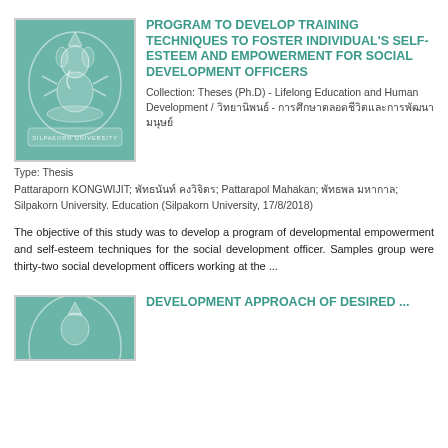[Figure (logo): Silpakorn University logo on teal/green background]
PROGRAM TO DEVELOP TRAINING TECHNIQUES TO FOSTER INDIVIDUAL'S SELF-ESTEEM AND EMPOWERMENT FOR SOCIAL DEVELOPMENT OFFICERS
Collection: Theses (Ph.D) - Lifelong Education and Human Development / วิทยานิพนธ์ - การศึกษาตลอดชีวิตและการพัฒนามนุษย์
Type: Thesis
Pattaraporn KONGWIJIT; พัทธนันท์ คงวิจิตร; Pattarapol Mahakan; พัทธพล มหากาล; Silpakorn University. Education (Silpakorn University, 17/8/2018)
The objective of this study was to develop a program of developmental empowerment and self-esteem techniques for the social development officer. Samples group were thirty-two social development officers working at the ...
[Figure (logo): Silpakorn University logo on teal/green background, partially visible]